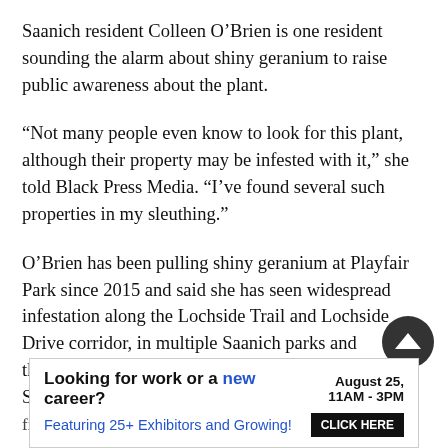Saanich resident Colleen O’Brien is one resident sounding the alarm about shiny geranium to raise public awareness about the plant.
“Not many people even know to look for this plant, although their property may be infested with it,” she told Black Press Media. “I’ve found several such properties in my sleuthing.”
O’Brien has been pulling shiny geranium at Playfair Park since 2015 and said she has seen widespread infestation along the Lochside Trail and Lochside Drive corridor, in multiple Saanich parks and throughout the Tattersall Road and Playfair Park area. She highly encourages people to first be able to clearly identify the plant, then alert auth...
[Figure (infographic): Advertisement banner: 'Looking for work or a new career? August 25, 11AM - 3PM. Featuring 25+ Exhibitors and Growing! CLICK HERE']